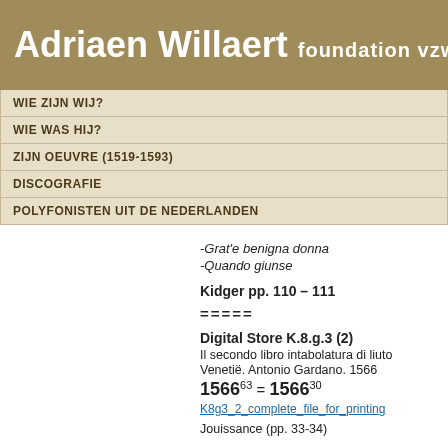Adriaen Willaert foundation vzw
WIE ZIJN WIJ?
WIE WAS HIJ?
ZIJN OEUVRE (1519-1593)
DISCOGRAFIE
POLYFONISTEN UIT DE NEDERLANDEN
-Grat'e benigna donna
-Quando giunse
Kidger pp. 110 – 111
=====
Digital Store K.8.g.3 (2)
Il secondo libro intabolatura di liuto
Venetië. Antonio Gardano. 1566
156663 = 156630
K8g3_2_complete_file_for_printing
Jouissance (pp. 33-34)